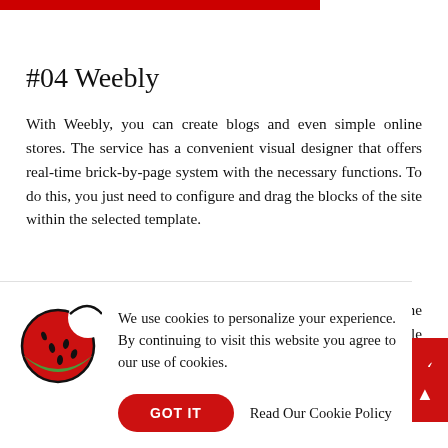#04 Weebly
With Weebly, you can create blogs and even simple online stores. The service has a convenient visual designer that offers real-time brick-by-page system with the necessary functions. To do this, you just need to configure and drag the blocks of the site within the selected template.
For using a personal domain, you can register it inside the service – .com, .net, .org zones are supported. It's also possible to connect
[Figure (other): Cookie consent banner with watermelon cookie icon, text 'We use cookies to personalize your experience. By continuing to visit this website you agree to our use of cookies.', GOT IT button, and Read Our Cookie Policy link]